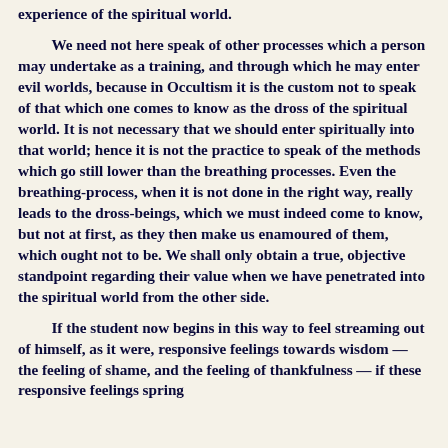experience of the spiritual world.
We need not here speak of other processes which a person may undertake as a training, and through which he may enter evil worlds, because in Occultism it is the custom not to speak of that which one comes to know as the dross of the spiritual world. It is not necessary that we should enter spiritually into that world; hence it is not the practice to speak of the methods which go still lower than the breathing processes. Even the breathing-process, when it is not done in the right way, really leads to the dross-beings, which we must indeed come to know, but not at first, as they then make us enamoured of them, which ought not to be. We shall only obtain a true, objective standpoint regarding their value when we have penetrated into the spiritual world from the other side.
If the student now begins in this way to feel streaming out of himself, as it were, responsive feelings towards wisdom — the feeling of shame, and the feeling of thankfulness — if these responsive feelings spring